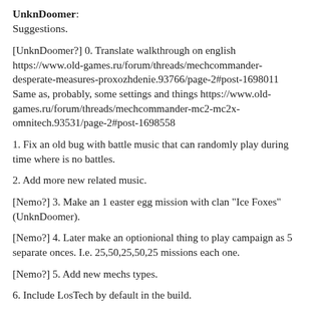UnknDoomer: Suggestions.
[UnknDoomer?] 0. Translate walkthrough on english https://www.old-games.ru/forum/threads/mechcommander-desperate-measures-proxozhdenie.93766/page-2#post-1698011 Same as, probably, some settings and things https://www.old-games.ru/forum/threads/mechcommander-mc2-mc2x-omnitech.93531/page-2#post-1698558
1. Fix an old bug with battle music that can randomly play during time where is no battles.
2. Add more new related music.
[Nemo?] 3. Make an 1 easter egg mission with clan "Ice Foxes" (UnknDoomer).
[Nemo?] 4. Later make an optionional thing to play campaign as 5 separate onces. I.e. 25,50,25,50,25 missions each one.
[Nemo?] 5. Add new mechs types.
6. Include LosTech by default in the build.